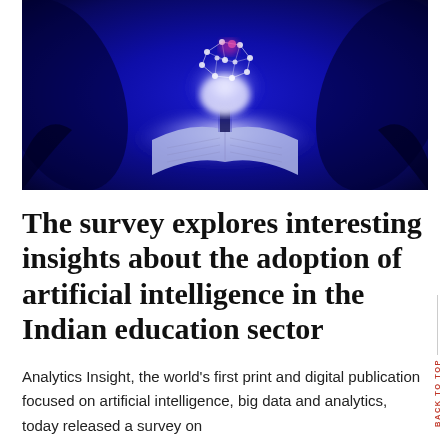[Figure (illustration): Header illustration showing a glowing brain rising above an open book against a deep blue background, with pink/white neural network patterns radiating from the brain]
The survey explores interesting insights about the adoption of artificial intelligence in the Indian education sector
Analytics Insight, the world's first print and digital publication focused on artificial intelligence, big data and analytics, today released a survey on